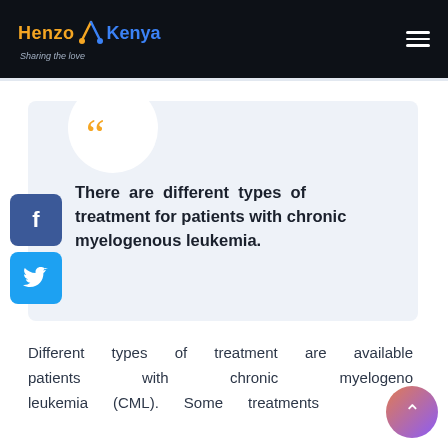Henzo Kenya – Sharing the love
There are different types of treatment for patients with chronic myelogenous leukemia.
Different types of treatment are available patients with chronic myelogenous leukemia (CML). Some treatments